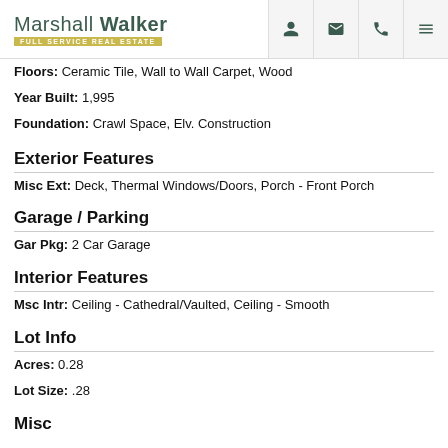Marshall Walker FULL SERVICE REAL ESTATE
Floors: Ceramic Tile, Wall to Wall Carpet, Wood
Year Built: 1,995
Foundation: Crawl Space, Elv. Construction
Exterior Features
Misc Ext: Deck, Thermal Windows/Doors, Porch - Front Porch
Garage / Parking
Gar Pkg: 2 Car Garage
Interior Features
Msc Intr: Ceiling - Cathedral/Vaulted, Ceiling - Smooth
Lot Info
Acres: 0.28
Lot Size: .28
Misc